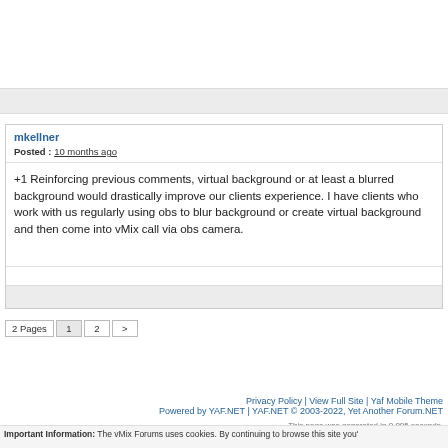mkellner
Posted : 10 months ago
+1 Reinforcing previous comments, virtual background or at least a blurred background would drastically improve our clients experience. I have clients who work with us regularly using obs to blur background or create virtual background and then come into vMix call via obs camera.
2 Pages  1  2  >
Privacy Policy | View Full Site | Yaf Mobile Theme
Powered by YAF.NET | YAF.NET © 2003-2022, Yet Another Forum.NET
Important Information: The vMix Forums uses cookies. By continuing to browse this site you'...
This page was generated in 0.095 seconds.